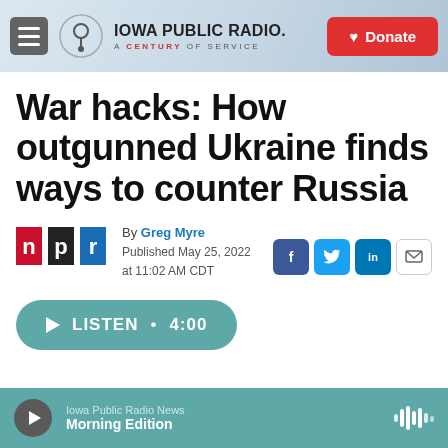Iowa Public Radio. A Century of Service. Donate.
War hacks: How outgunned Ukraine finds ways to counter Russia
By Greg Myre
Published May 25, 2022 at 11:02 AM CDT
LISTEN • 4:00
Iowa Public Radio News Morning Edition